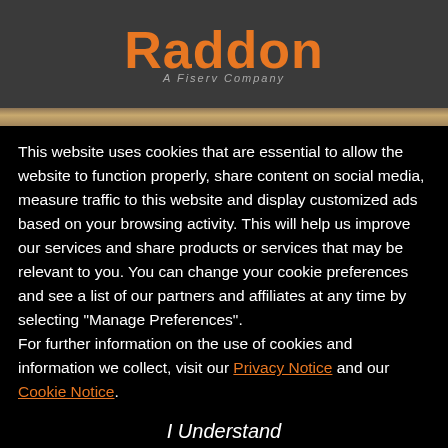Raddon – A Fiserv Company
This website uses cookies that are essential to allow the website to function properly, share content on social media, measure traffic to this website and display customized ads based on your browsing activity. This will help us improve our services and share products or services that may be relevant to you. You can change your cookie preferences and see a list of our partners and affiliates at any time by selecting "Manage Preferences". For further information on the use of cookies and information we collect, visit our Privacy Notice and our Cookie Notice.
I Understand
Manage Cookie Preferences